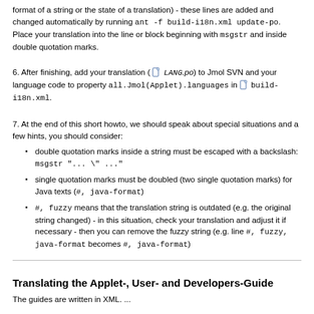format of a string or the state of a translation) - these lines are added and changed automatically by running ant -f build-i18n.xml update-po. Place your translation into the line or block beginning with msgstr and inside double quotation marks.
6. After finishing, add your translation ( LANG.po) to Jmol SVN and your language code to property all.Jmol(Applet).languages in build-i18n.xml.
7. At the end of this short howto, we should speak about special situations and a few hints, you should consider:
double quotation marks inside a string must be escaped with a backslash: msgstr "... \" ..."
single quotation marks must be doubled (two single quotation marks) for Java texts (#, java-format)
#, fuzzy means that the translation string is outdated (e.g. the original string changed) - in this situation, check your translation and adjust it if necessary - then you can remove the fuzzy string (e.g. line #, fuzzy, java-format becomes #, java-format)
Translating the Applet-, User- and Developers-Guide
The guides are written in XML. ...